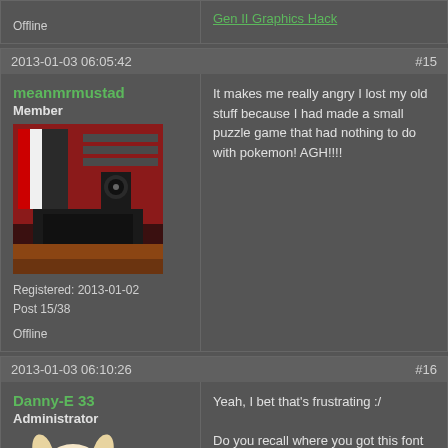Gen II Graphics Hack
Offline
2013-01-03 06:05:42  #15
meanmrmustad
Member
[Figure (photo): User avatar: dark photo of a room with red and black decor, speakers, and equipment]
Registered: 2013-01-02
Post 15/38
Offline
It makes me really angry I lost my old stuff because I had made a small puzzle game that had nothing to do with pokemon! AGH!!!!
2013-01-03 06:10:26  #16
Danny-E 33
Administrator
[Figure (illustration): User avatar: cartoon dog/creature character in white and cream colors]
Yeah, I bet that's frustrating :/

Do you recall where you got this font from? Or did you make it up all on your own? I took the font from my Voyage 200 calculator, and our